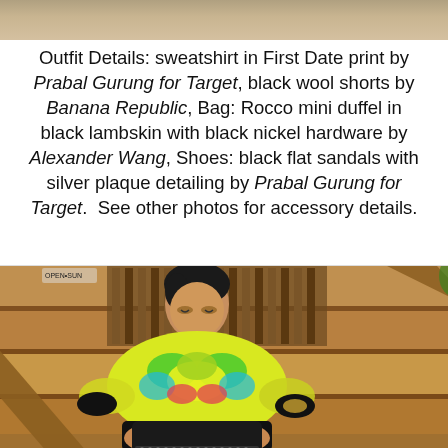[Figure (photo): Partial photo at top of page showing a cropped image (bottom portion of a previous photo), brown/tan tones]
Outfit Details: sweatshirt in First Date print by Prabal Gurung for Target, black wool shorts by Banana Republic, Bag: Rocco mini duffel in black lambskin with black nickel hardware by Alexander Wang, Shoes: black flat sandals with silver plaque detailing by Prabal Gurung for Target.  See other photos for accessory details.
[Figure (photo): Photo of a person sitting on wooden stairs, wearing a colorful floral/graphic sweatshirt and black shorts, holding a black studded bag. Background shows wooden fence/door and plants with orange flowers.]